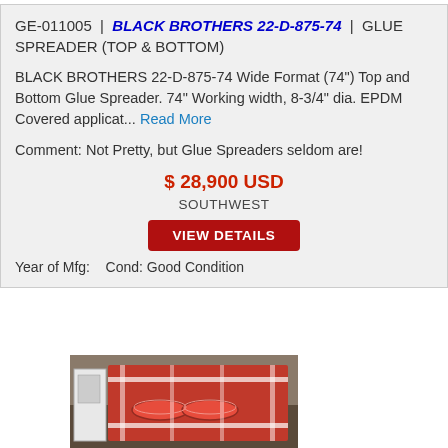GE-011005 | BLACK BROTHERS 22-D-875-74 | GLUE SPREADER (TOP & BOTTOM)
BLACK BROTHERS 22-D-875-74 Wide Format (74") Top and Bottom Glue Spreader. 74" Working width, 8-3/4" dia. EPDM Covered applicat... Read More
Comment: Not Pretty, but Glue Spreaders seldom are!
$ 28,900 USD
SOUTHWEST
VIEW DETAILS
Year of Mfg:    Cond: Good Condition
[Figure (photo): Photo of a red and white industrial glue spreader machine in a warehouse/factory setting]